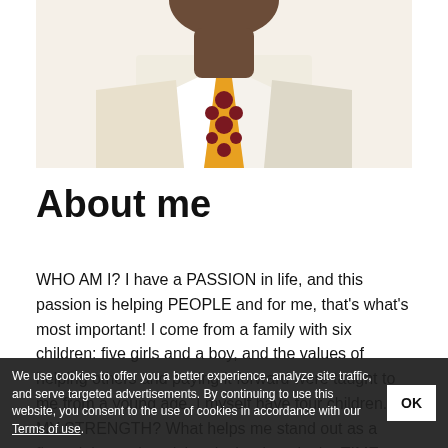[Figure (photo): Cropped photo of a man wearing a white/cream blazer and a yellow polka-dot tie, from the neck down to chest level, white background.]
About me
WHO AM I? I have a PASSION in life, and this passion is helping PEOPLE and for me, that's what's most important! I come from a family with six children: five girls and a boy, and the values of helping others and paying it forward were taught to me from a young age. I myself have four children. MY STRENGTH? What helps me stand out as a financial security advisor is that I put in the TIME to understand your personal finances. Contact me today!
We use cookies to offer you a better experience, analyze site traffic, and serve targeted advertisements. By continuing to use this website, you consent to the use of cookies in accordance with our Terms of use.